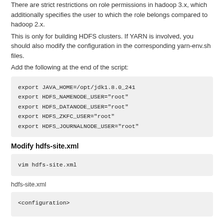There are strict restrictions on role permissions in hadoop 3.x, which additionally specifies the user to which the role belongs compared to hadoop 2.x.
This is only for building HDFS clusters. If YARN is involved, you should also modify the configuration in the corresponding yarn-env.sh files.
Add the following at the end of the script:
[Figure (screenshot): Code block showing export statements for JAVA_HOME, HDFS_NAMENODE_USER, HDFS_DATANODE_USER, HDFS_ZKFC_USER, HDFS_JOURNALNODE_USER all set to root]
Modify hdfs-site.xml
[Figure (screenshot): Code block showing: vim hdfs-site.xml]
hdfs-site.xml
[Figure (screenshot): Code block showing: <configuration>]